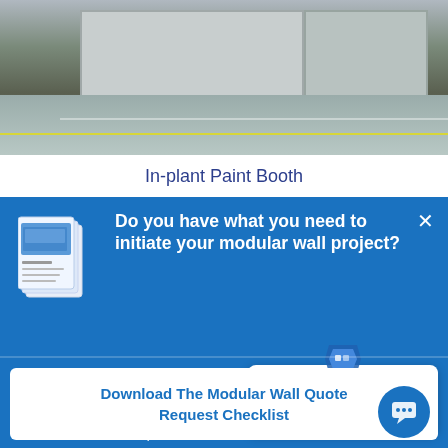[Figure (photo): Interior photo of an in-plant paint booth with white/gray modular wall panels, polished concrete floor with yellow safety lines, and industrial warehouse setting.]
In-plant Paint Booth
[Figure (infographic): Blue promotional panel with heading 'Do you have what you need to initiate your modular wall project?' with brochure icon and close button. Contains body text about Starrco team, a chat popup saying 'Got any questions? I'm happy to help.' and a download button for 'Download The Modular Wall Quote Request Checklist'.]